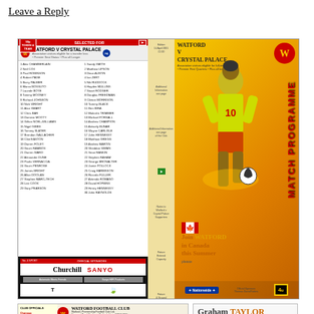Leave a Reply
[Figure (photo): Watford v Crystal Palace Match Programme cover and teamsheet spread, showing a footballer in yellow/green Watford kit dribbling, with 'Match Programme' text vertically on the right, player listings on the left, and sponsor logos (Churchill, Sanyo). Bottom shows 'Join Watford in Canada this Summer' with Canadian flag, Nationwide and 4u logos.]
[Figure (photo): Watford Football Club inner page with club officials list, contact phone numbers, and club logo on left side.]
[Figure (photo): Graham Taylor column page with his portrait photo, headline 'Take some risks and go for it' and article text below.]